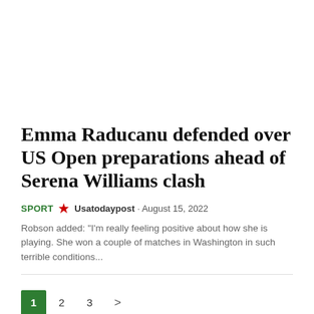Emma Raducanu defended over US Open preparations ahead of Serena Williams clash
SPORT  Usatodaypost · August 15, 2022
Robson added: "I'm really feeling positive about how she is playing. She won a couple of matches in Washington in such terrible conditions...
1  2  3  >